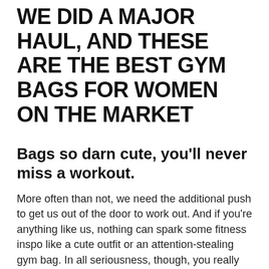WE DID A MAJOR HAUL, AND THESE ARE THE BEST GYM BAGS FOR WOMEN ON THE MARKET
Bags so darn cute, you'll never miss a workout.
More often than not, we need the additional push to get us out of the door to work out. And if you're anything like us, nothing can spark some fitness inspo like a cute outfit or an attention-stealing gym bag. In all seriousness, though, you really should have a gym bag that's completely